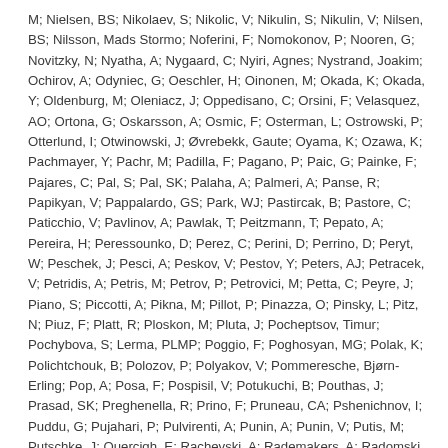M; Nielsen, BS; Nikolaev, S; Nikolic, V; Nikulin, S; Nikulin, V; Nilsen, BS; Nilsson, Mads Stormo; Noferini, F; Nomokonov, P; Nooren, G; Novitzky, N; Nyatha, A; Nygaard, C; Nyiri, Agnes; Nystrand, Joakim; Ochirov, A; Odyniec, G; Oeschler, H; Oinonen, M; Okada, K; Okada, Y; Oldenburg, M; Oleniacz, J; Oppedisano, C; Orsini, F; Velasquez, AO; Ortona, G; Oskarsson, A; Osmic, F; Osterman, L; Ostrowski, P; Otterlund, I; Otwinowski, J; Øvrebekk, Gaute; Oyama, K; Ozawa, K; Pachmayer, Y; Pachr, M; Padilla, F; Pagano, P; Paic, G; Painke, F; Pajares, C; Pal, S; Pal, SK; Palaha, A; Palmeri, A; Panse, R; Papikyan, V; Pappalardo, GS; Park, WJ; Pastircak, B; Pastore, C; Paticchio, V; Pavlinov, A; Pawlak, T; Peitzmann, T; Pepato, A; Pereira, H; Peressounko, D; Perez, C; Perini, D; Perrino, D; Peryt, W; Peschek, J; Pesci, A; Peskov, V; Pestov, Y; Peters, AJ; Petracek, V; Petridis, A; Petris, M; Petrov, P; Petrovici, M; Petta, C; Peyre, J; Piano, S; Piccotti, A; Pikna, M; Pillot, P; Pinazza, O; Pinsky, L; Pitz, N; Piuz, F; Platt, R; Ploskon, M; Pluta, J; Pocheptsov, Timur; Pochybova, S; Lerma, PLMP; Poggio, F; Poghosyan, MG; Polak, K; Polichtchouk, B; Polozov, P; Polyakov, V; Pommeresche, Bjørn-Erling; Pop, A; Posa, F; Pospisil, V; Potukuchi, B; Pouthas, J; Prasad, SK; Preghenella, R; Prino, F; Pruneau, CA; Pshenichnov, I; Puddu, G; Pujahari, P; Pulvirenti, A; Punin, A; Punin, V; Putis, M; Putschke, J; Quercigh, E; Rachevski, A; Rademakers, A; Radomski, S; Raiha, TS;